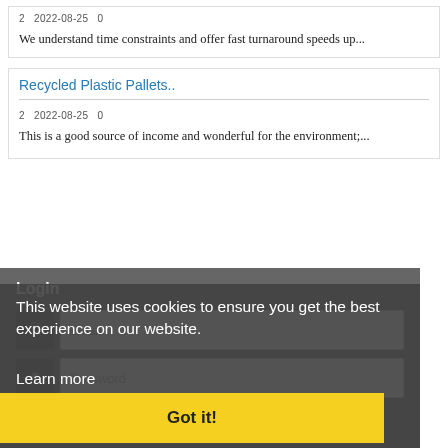2  2022-08-25  0
We understand time constraints and offer fast turnaround speeds up...
Recycled Plastic Pallets..
2  2022-08-25  0
This is a good source of income and wonderful for the environment;...
Login
This website uses cookies to ensure you get the best experience on our website.
Learn more
Got it!
Email
Password
Remember Me
Register | Forgot Password?